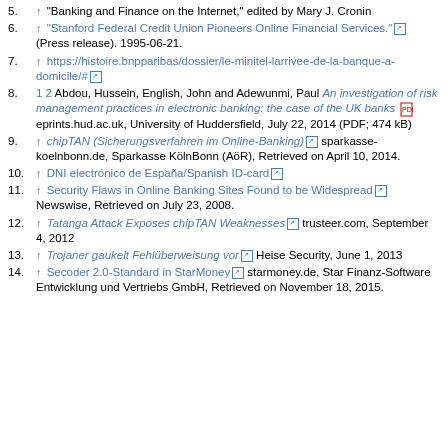5. ↑ "Banking and Finance on the Internet," edited by Mary J. Cronin
6. ↑ "Stanford Federal Credit Union Pioneers Online Financial Services." (Press release). 1995-06-21.
7. ↑ https://histoire.bnpparibas/dossier/le-minitel-larrivee-de-la-banque-a-domicile/#
8. 1 2 Abdou, Hussein, English, John and Adewunmi, Paul An investigation of risk management practices in electronic banking: the case of the UK banks eprints.hud.ac.uk, University of Huddersfield, July 22, 2014 (PDF; 474 kB)
9. ↑ chipTAN (Sicherungsverfahren im Online-Banking) sparkasse-koelnbonn.de, Sparkasse KölnBonn (AöR), Retrieved on April 10, 2014.
10. ↑ DNI electrónico de España/Spanish ID-card
11. ↑ Security Flaws in Online Banking Sites Found to be Widespread Newswise, Retrieved on July 23, 2008.
12. ↑ Tatanga Attack Exposes chipTAN Weaknesses trusteer.com, September 4, 2012
13. ↑ Trojaner gaukelt Fehlüberweisung vor Heise Security, June 1, 2013
14. ↑ Secoder 2.0-Standard in StarMoney starmoney.de, Star Finanz-Software Entwicklung und Vertriebs GmbH, Retrieved on November 18, 2015.